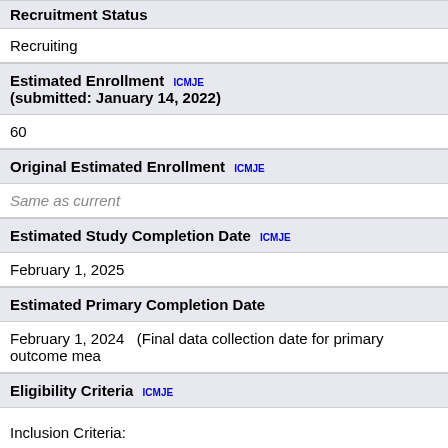Recruitment Status
Recruiting
Estimated Enrollment ICMJE (submitted: January 14, 2022)
60
Original Estimated Enrollment ICMJE
Same as current
Estimated Study Completion Date ICMJE
February 1, 2025
Estimated Primary Completion Date
February 1, 2024   (Final data collection date for primary outcome mea
Eligibility Criteria ICMJE
Inclusion Criteria: